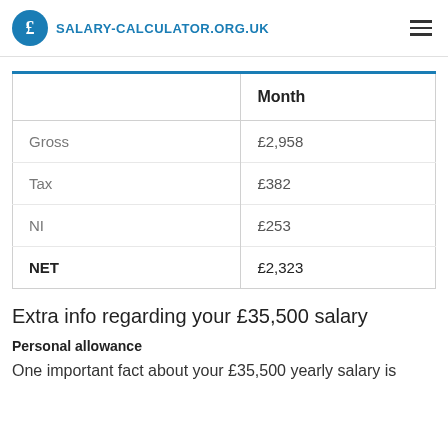SALARY-CALCULATOR.ORG.UK
|  | Month |
| --- | --- |
| Gross | £2,958 |
| Tax | £382 |
| NI | £253 |
| NET | £2,323 |
Extra info regarding your £35,500 salary
Personal allowance
One important fact about your £35,500 yearly salary is